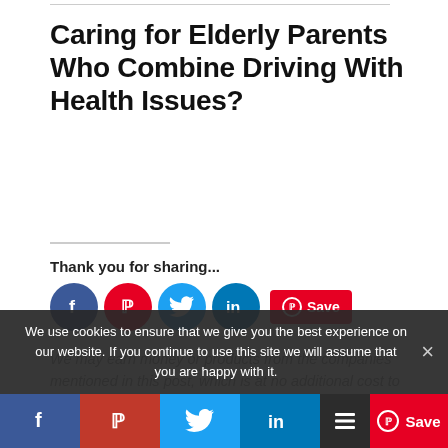Caring for Elderly Parents Who Combine Driving With Health Issues?
Thank you for sharing...
[Figure (infographic): Social sharing icons row: Facebook (blue circle), Pinterest (red circle), Twitter (blue circle), LinkedIn (blue circle), Pinterest Save button (red rectangle)]
We may earn money or products from the companies mentioned in this post, which is at no additional cost to you. :)
We use cookies to ensure that we give you the best experience on our website. If you continue to use this site we will assume that you are happy with it.
[Figure (infographic): Bottom social share bar with Facebook, Pinterest, Twitter, LinkedIn buttons and a layers/stack icon and Pinterest Save button]